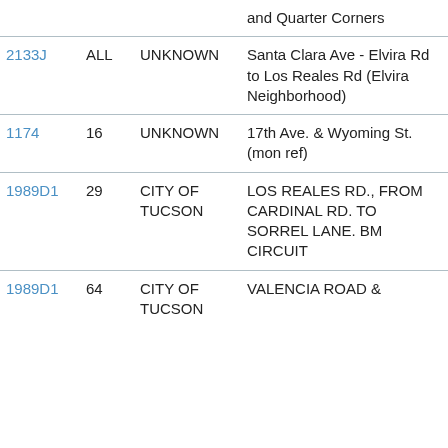| ID | Num | Owner | Description | Ref |
| --- | --- | --- | --- | --- |
|  |  |  | and Quarter Corners |  |
| 2133J | ALL | UNKNOWN | Santa Clara Ave - Elvira Rd to Los Reales Rd (Elvira Neighborhood) | 15S |
| 1174 | 16 | UNKNOWN | 17th Ave. & Wyoming St. (mon ref) | 15S |
| 1989D1 | 29 | CITY OF TUCSON | LOS REALES RD., FROM CARDINAL RD. TO SORREL LANE. BM CIRCUIT | 15S |
| 1989D1 | 64 | CITY OF TUCSON | VALENCIA ROAD & | 15S |